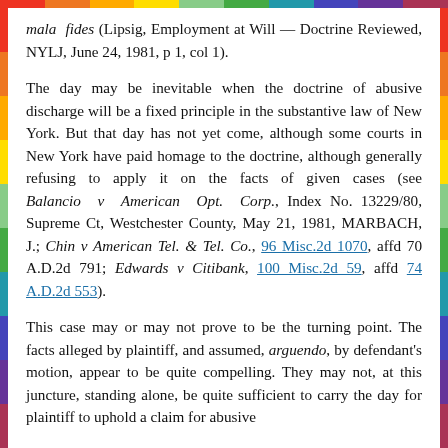mala fides (Lipsig, Employment at Will — Doctrine Reviewed, NYLJ, June 24, 1981, p 1, col 1).
The day may be inevitable when the doctrine of abusive discharge will be a fixed principle in the substantive law of New York. But that day has not yet come, although some courts in New York have paid homage to the doctrine, although generally refusing to apply it on the facts of given cases (see Balancio v American Opt. Corp., Index No. 13229/80, Supreme Ct, Westchester County, May 21, 1981, MARBACH, J.; Chin v American Tel. & Tel. Co., 96 Misc.2d 1070, affd 70 A.D.2d 791; Edwards v Citibank, 100 Misc.2d 59, affd 74 A.D.2d 553).
This case may or may not prove to be the turning point. The facts alleged by plaintiff, and assumed, arguendo, by defendant's motion, appear to be quite compelling. They may not, at this juncture, standing alone, be quite sufficient to carry the day for plaintiff to uphold a claim for abusive